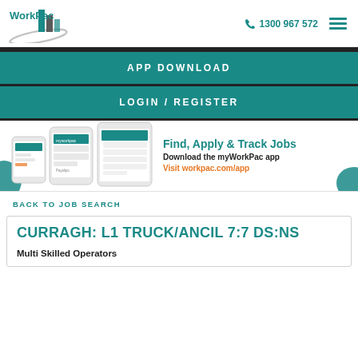[Figure (logo): WorkPac logo with teal building/bar chart icon and grey swoosh]
1300 967 572
APP DOWNLOAD
LOGIN / REGISTER
[Figure (screenshot): myWorkPac app screenshots on mobile phones showing job listings and tracking screens]
Find, Apply & Track Jobs
Download the myWorkPac app
Visit workpac.com/app
BACK TO JOB SEARCH
CURRAGH: L1 TRUCK/ANCIL 7:7 DS:NS
Multi Skilled Operators